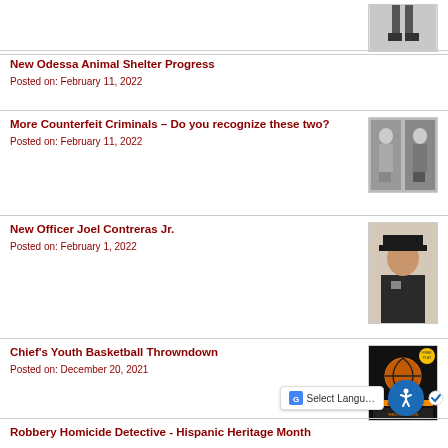[Figure (photo): Partial photo of person at top right corner, only legs/feet visible]
New Odessa Animal Shelter Progress
Posted on: February 11, 2022
More Counterfeit Criminals – Do you recognize these two?
Posted on: February 11, 2022
[Figure (photo): Two grayscale surveillance photos of suspects side by side]
New Officer Joel Contreras Jr.
Posted on: February 1, 2022
[Figure (photo): Portrait photo of Officer Joel Contreras Jr. in police uniform]
Chief's Youth Basketball Throwndown
Posted on: December 20, 2021
[Figure (photo): Event flyer image for Youth Basketball Throwndown]
Robbery Homicide Detective - Hispanic Heritage Month